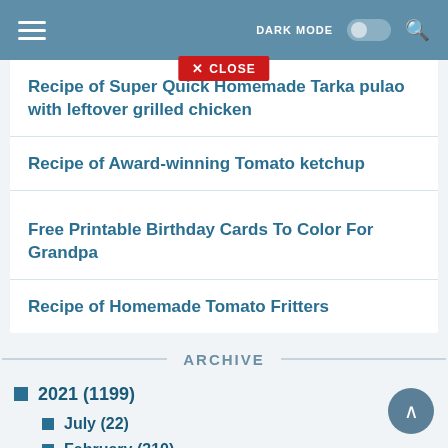DARK MODE [toggle] [search]
Recipe of Super Quick Homemade Tarka pulao with leftover grilled chicken
Recipe of Award-winning Tomato ketchup
Free Printable Birthday Cards To Color For Grandpa
Recipe of Homemade Tomato Fritters
ARCHIVE
2021 (1199)
July (22)
February (310)
January (867)